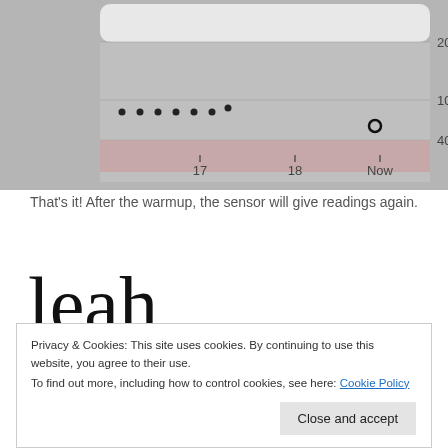[Figure (continuous-plot): A CGM (continuous glucose monitor) sensor warmup chart showing glucose readings with dotted line during warmup period, an open circle at 'Now', and a pink/red shaded low zone. Y-axis shows values 40, 100, 200. X-axis shows time labels 17, 18, Now.]
That's it! After the warmup, the sensor will give readings again.
[Figure (logo): Handwritten-style cursive logo text reading 'leah']
Privacy & Cookies: This site uses cookies. By continuing to use this website, you agree to their use.
To find out more, including how to control cookies, see here: Cookie Policy
Close and accept